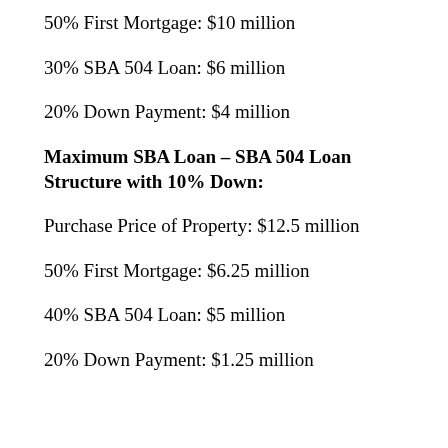50% First Mortgage: $10 million
30% SBA 504 Loan: $6 million
20% Down Payment: $4 million
Maximum SBA Loan – SBA 504 Loan Structure with 10% Down:
Purchase Price of Property: $12.5 million
50% First Mortgage: $6.25 million
40% SBA 504 Loan: $5 million
20% Down Payment: $1.25 million